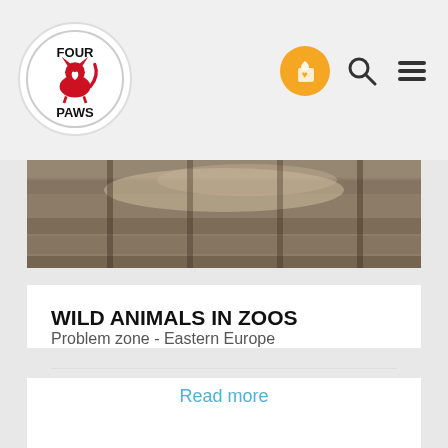Four Paws logo and navigation header with donate button, search icon, and menu icon
[Figure (photo): Close-up photo of a wild animal (big cat) on a wooden ledge/bars in a zoo enclosure, muted brown tones]
WILD ANIMALS IN ZOOS
Problem zone - Eastern Europe
Read more